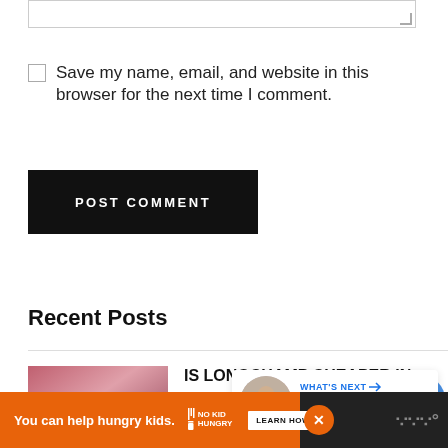[Figure (screenshot): Textarea input box (top of page, partially visible)]
Save my name, email, and website in this browser for the next time I comment.
[Figure (screenshot): POST COMMENT button - black rectangle with white uppercase text]
[Figure (screenshot): Blue circular heart/like button]
[Figure (screenshot): White circular share button]
Recent Posts
[Figure (screenshot): Post thumbnail image for IS LONGCHAMP CHEAPER IN... Analysis! with LGCHAMP CHEAPER label]
IS LONGCHAMP CHEAPER IN... Analysis!
[Figure (screenshot): What's Next overlay with circular thumbnail and List Of Clothing... label]
[Figure (screenshot): Advertisement banner: You can help hungry kids. No Kid Hungry LEARN HOW]